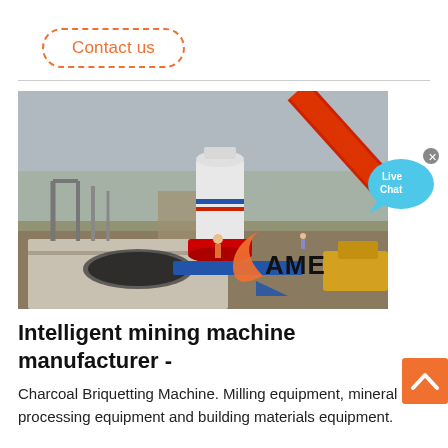Contact us
[Figure (photo): Outdoor mining site with a large white industrial cone crusher machine, a red crane arm, workers, construction framework, and an orange/blue company logo overlay reading 'AME' in the foreground.]
[Figure (other): Live Chat bubble icon in cyan/blue color with 'Live Chat' text and an X button.]
Intelligent mining machine manufacturer -
Charcoal Briquetting Machine. Milling equipment, mineral processing equipment and building materials equipment.